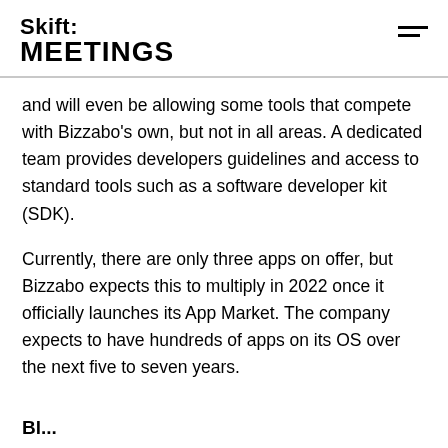Skift: MEETINGS
and will even be allowing some tools that compete with Bizzabo’s own, but not in all areas. A dedicated team provides developers guidelines and access to standard tools such as a software developer kit (SDK).
Currently, there are only three apps on offer, but Bizzabo expects this to multiply in 2022 once it officially launches its App Market. The company expects to have hundreds of apps on its OS over the next five to seven years.
Blockchain...